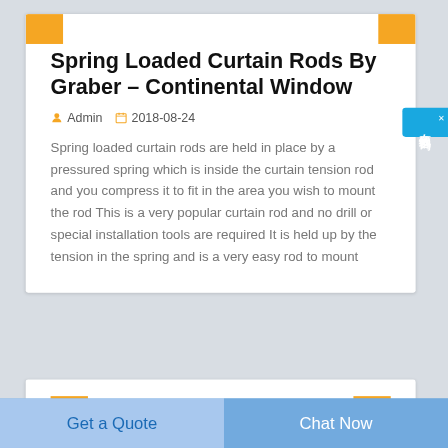Spring Loaded Curtain Rods By Graber – Continental Window
Admin  2018-08-24
Spring loaded curtain rods are held in place by a pressured spring which is inside the curtain tension rod and you compress it to fit in the area you wish to mount the rod This is a very popular curtain rod and no drill or special installation tools are required It is held up by the tension in the spring and is a very easy rod to mount
Get a Quote
Chat Now